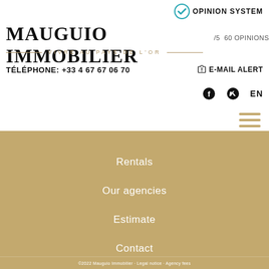[Figure (logo): Opinion System checkmark logo with teal checkmark in speech bubble]
OPINION SYSTEM
MAUGUIO IMMOBILIER
/5  60 OPINIONS
VIVRE AU PAYS DE L'OR
TÉLÉPHONE: +33 4 67 67 06 70
E-MAIL ALERT
EN
Rentals
Our agencies
Estimate
Contact
©2022 Mauguio Immobilier · Legal notice · Agency fees